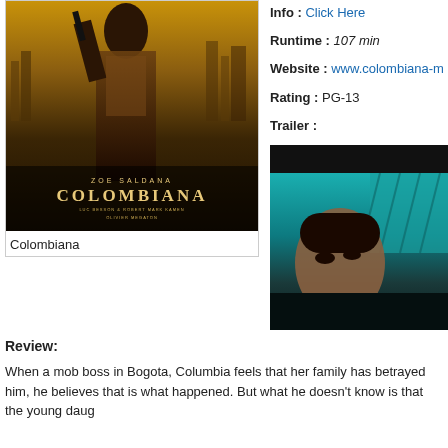[Figure (photo): Movie poster for Colombiana featuring Zoe Saldana holding a gun, with golden-brown tones and city skyline in background. Text reads 'ZOE SALDANA' and 'COLOMBIANA' with credits.]
Colombiana
Info : Click Here
Runtime : 107 min
Website : www.colombiana-m
Rating : PG-13
Trailer :
[Figure (screenshot): Trailer thumbnail showing a woman with teal/blue coloring, close-up of face, dark and teal tones.]
Review:
When a mob boss in Bogota, Columbia feels that her family has betrayed him, he believes that is what happened. But what he doesn't know is that the young daug